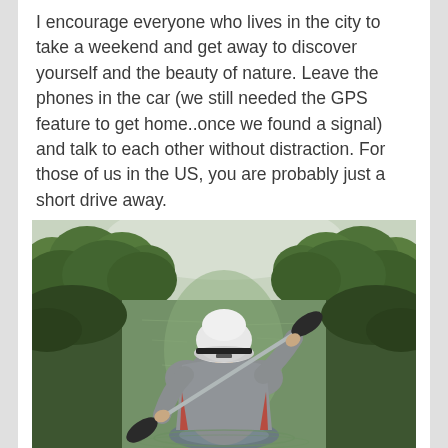I encourage everyone who lives in the city to take a weekend and get away to discover yourself and the beauty of nature. Leave the phones in the car (we still needed the GPS feature to get home..once we found a signal) and talk to each other without distraction. For those of us in the US, you are probably just a short drive away.
[Figure (photo): A person seen from behind kayaking on a calm green river or creek surrounded by lush green trees. The person wears a gray sweatshirt and a white baseball cap, and is holding a black paddle raised in the air.]